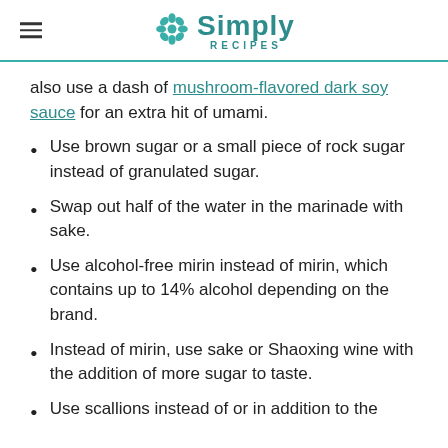Simply Recipes
also use a dash of mushroom-flavored dark soy sauce for an extra hit of umami.
Use brown sugar or a small piece of rock sugar instead of granulated sugar.
Swap out half of the water in the marinade with sake.
Use alcohol-free mirin instead of mirin, which contains up to 14% alcohol depending on the brand.
Instead of mirin, use sake or Shaoxing wine with the addition of more sugar to taste.
Use scallions instead of or in addition to the